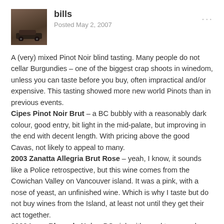bills
Posted May 2, 2007
A (very) mixed Pinot Noir blind tasting. Many people do not cellar Burgundies – one of the biggest crap shoots in winedom, unless you can taste before you buy, often impractical and/or expensive. This tasting showed more new world Pinots than in previous events.
Cipes Pinot Noir Brut – a BC bubbly with a reasonably dark colour, good entry, bit light in the mid-palate, but improving in the end with decent length. With pricing above the good Cavas, not likely to appeal to many.
2003 Zanatta Allegria Brut Rose – yeah, I know, it sounds like a Police retrospective, but this wine comes from the Cowichan Valley on Vancouver island. It was a pink, with a nose of yeast, an unfinished wine. Which is why I taste but do not buy wines from the Island, at least not until they get their act together.
2006 Lang Blanc de Noir – BC pink with a red tone, made from Pinot and Gamay. Not worth putting in your mouth. I know – I did.....